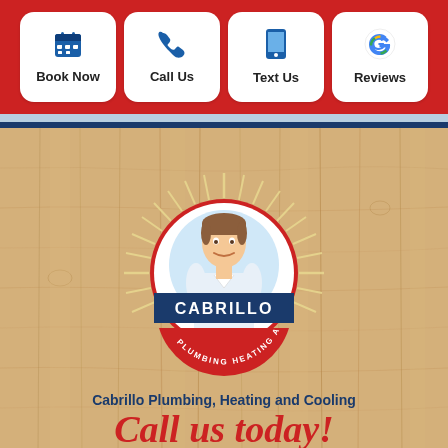[Figure (infographic): App-style navigation bar with four white rounded buttons on red background: Book Now (calendar icon), Call Us (phone icon), Text Us (mobile icon), Reviews (Google G icon)]
[Figure (logo): Cabrillo Plumbing Heating Air circular logo with retro illustration of smiling man in white shirt, red outer ring, blue banner reading CABRILLO, sunburst rays on wood plank background]
Cabrillo Plumbing, Heating and Cooling
Call us today!